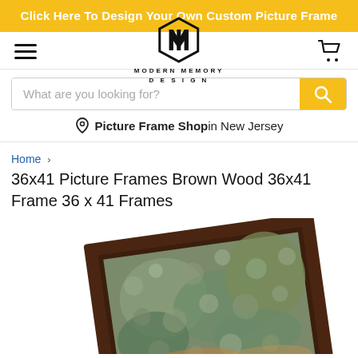Click Here To Design Your Own Custom Picture Frame
[Figure (logo): Modern Memory Design logo with geometric hexagon icon and text MODERN MEMORY DESIGN]
What are you looking for?
Picture Frame Shop in New Jersey
Home > 36x41 Picture Frames Brown Wood 36x41 Frame 36 x 41 Frames
36x41 Picture Frames Brown Wood 36x41 Frame 36 x 41 Frames
[Figure (photo): Photo of a brown wood picture frame displayed at an angle showing a colorful artwork inside]